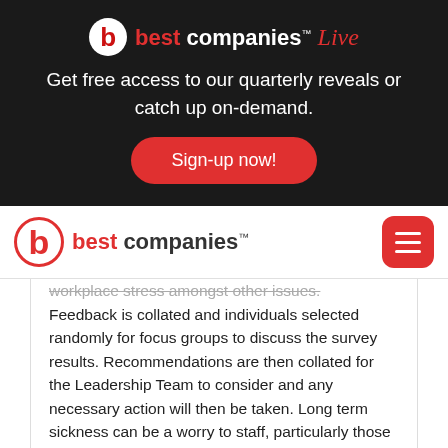[Figure (logo): Best Companies Live logo in white and red on dark background]
Get free access to our quarterly reveals or catch up on-demand.
Sign-up now!
[Figure (logo): Best Companies logo in red and dark text on white navbar]
workplace stress amongst other issues. Feedback is collated and individuals selected randomly for focus groups to discuss the survey results. Recommendations are then collated for the Leadership Team to consider and any necessary action will then be taken. Long term sickness can be a worry to staff, particularly those with dependents. Cadline consider their staff to be an extended family. Every member of staff who has suffered